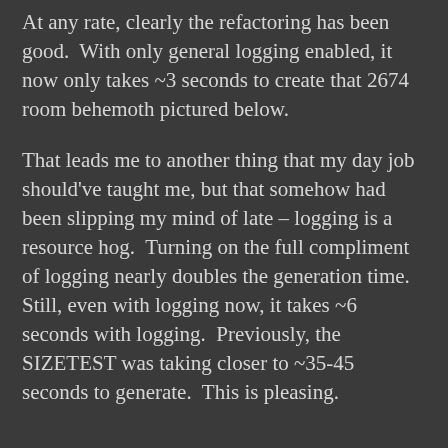At any rate, clearly the refactoring has been good.  With only general logging enabled, it now only takes ~3 seconds to create that 2674 room behemoth pictured below.
That leads me to another thing that my day job should've taught me, but that somehow had been slipping my mind of late – logging is a resource hog.  Turning on the full compliment of logging nearly doubles the generation time.  Still, even with logging now, it takes ~6 seconds with logging.  Previously, the SIZETEST was taking closer to ~35-45 seconds to generate.  This is pleasing.